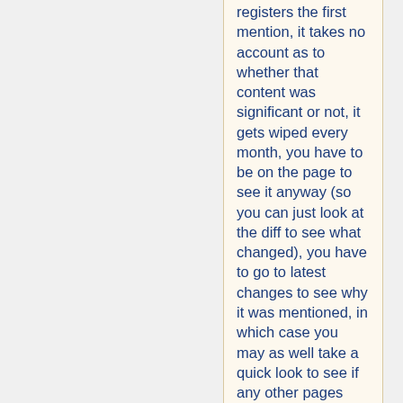registers the first mention, it takes no account as to whether that content was significant or not, it gets wiped every month, you have to be on the page to see it anyway (so you can just look at the diff to see what changed), you have to go to latest changes to see why it was mentioned, in which case you may as well take a quick look to see if any other pages that you are interested in have changed.

The other issues that he raises have, I think, been dealt with. The two-sites issue is silly. Downloading the lab occurs via a script